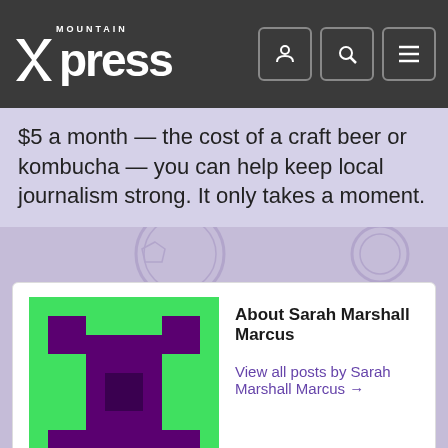Mountain Xpress
$5 a month — the cost of a craft beer or kombucha — you can help keep local journalism strong. It only takes a moment.
About Sarah Marshall Marcus
View all posts by Sarah Marshall Marcus →
❮ Older Post
Small bites: N.C. Department of Cultural Resources hosts barbecue exhibit
Newer Post ❯
Beer Scout: The Whale builds a second location in Greenville